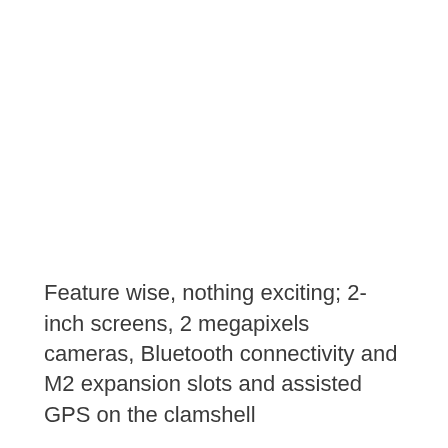Feature wise, nothing exciting; 2-inch screens, 2 megapixels cameras, Bluetooth connectivity and M2 expansion slots and assisted GPS on the clamshell